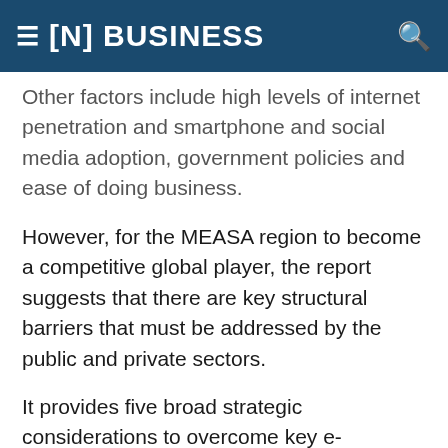[N] BUSINESS
Other factors include high levels of internet penetration and smartphone and social media adoption, government policies and ease of doing business.
However, for the MEASA region to become a competitive global player, the report suggests that there are key structural barriers that must be addressed by the public and private sectors.
It provides five broad strategic considerations to overcome key e-commerce barriers. These include a robust policy framework, consumer awareness and trust building, improved logistics and postal services, digital infrastructure and global collaboration.